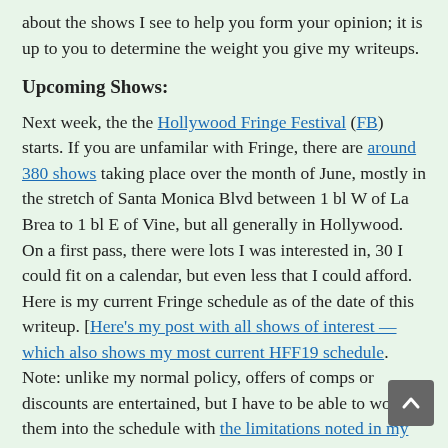about the shows I see to help you form your opinion; it is up to you to determine the weight you give my writeups.
Upcoming Shows:
Next week, the the Hollywood Fringe Festival (FB) starts. If you are unfamilar with Fringe, there are around 380 shows taking place over the month of June, mostly in the stretch of Santa Monica Blvd between 1 bl W of La Brea to 1 bl E of Vine, but all generally in Hollywood. On a first pass, there were lots I was interested in, 30 I could fit on a calendar, but even less that I could afford. Here is my current Fringe schedule as of the date of this writeup. [Here's my post with all shows of interest — which also shows my most current HFF19 schedule. Note: unlike my normal policy, offers of comps or discounts are entertained, but I have to be able to work them into the schedule with the limitations noted in my HFF19 post]:
Sat, June 8: 10a–3p 🌐 Gluten Free Expo (Pasadena Convention Center) 🍊 8p Sh…